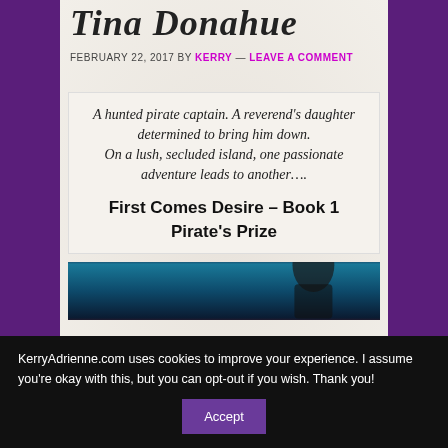Tina Donahue
FEBRUARY 22, 2017 BY KERRY — LEAVE A COMMENT
A hunted pirate captain. A reverend's daughter determined to bring him down.
On a lush, secluded island, one passionate adventure leads to another….
First Comes Desire – Book 1
Pirate's Prize
[Figure (photo): Book cover image showing a person's silhouette against a teal/dark blue background]
KerryAdrienne.com uses cookies to improve your experience. I assume you're okay with this, but you can opt-out if you wish. Thank you!